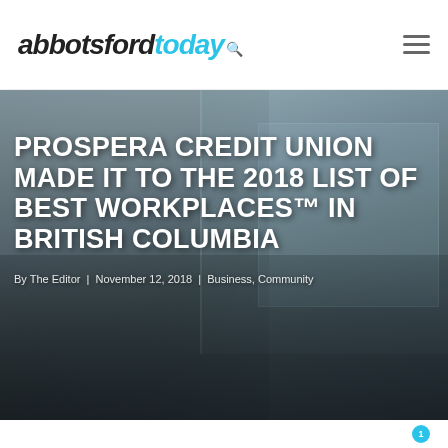abbotsfordtoday
[Figure (photo): Group photo of people in hockey jerseys standing in front of a Prospera Credit Union building exterior. The building has large windows and a covered entrance. Overlaid with bold white headline text about Best Workplaces.]
PROSPERA CREDIT UNION MADE IT TO THE 2018 LIST OF BEST WORKPLACES™ IN BRITISH COLUMBIA
By The Editor | November 12, 2018 | Business, Community